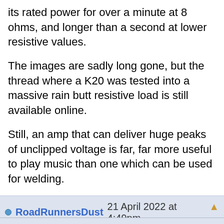its rated power for over a minute at 8 ohms, and longer than a second at lower resistive values.
The images are sadly long gone, but the thread where a K20 was tested into a massive rain butt resistive load is still available online.
Still, an amp that can deliver huge peaks of unclipped voltage is far, far more useful to play music than one which can be used for welding.
RoadRunnersDust 21 April 2022 at 4:49pm  Quote  Reply
Are you saying avant-garde sine wave jazz isn't music, Kyle? 🤔